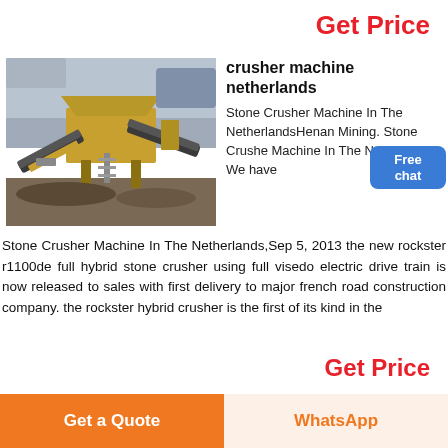Get Price
[Figure (photo): Industrial stone crusher machine / plant with yellow conveyor belts and machinery at a construction or mining site, cloudy sky background]
crusher machine netherlands
Stone Crusher Machine In The NetherlandsHenan Mining. Stone Crusher Machine In The Netherlands. We have Stone Crusher Machine In The Netherlands,Sep 5, 2013 the new rockster r1100de full hybrid stone crusher using full visedo electric drive train is now released to sales with first delivery to major french road construction company. the rockster hybrid crusher is the first of its kind in the
Get Price
Get a Quote
WhatsApp